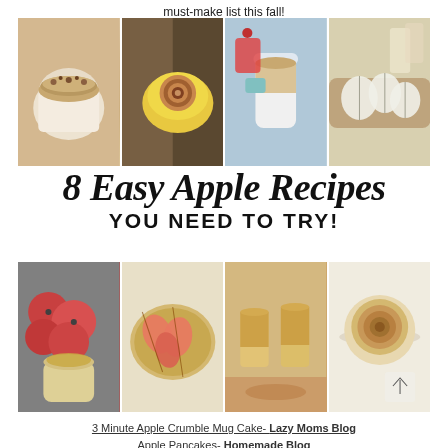must-make list this fall!
[Figure (photo): 4-panel collage of apple recipes: mug cake with granola topping, cinnamon rolls in bowl, apple crumble in jar, apple slices on board]
8 Easy Apple Recipes YOU NEED TO TRY!
[Figure (photo): 4-panel collage of apple recipes: fresh apples with caramel mug, apple galette, apple cider drinks, cinnamon roll on plate]
3 Minute Apple Crumble Mug Cake- Lazy Moms Blog
Apple Pancakes- Homemade Blog